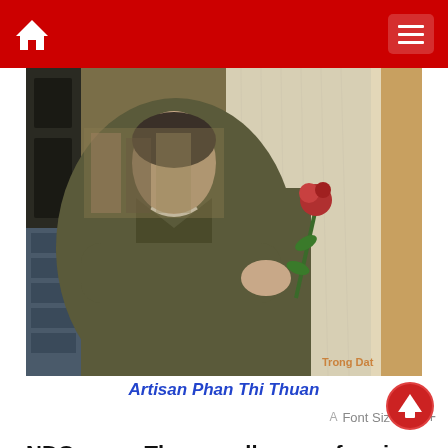Home | Menu
[Figure (photo): Artisan Phan Thi Thuan working with silk fabric, holding a rose against a sheer white fabric panel in a workshop setting.]
Artisan Phan Thi Thuan
NDO – The mulberry farming, silkworm raising, and silk weaving craft is one of the oldest and most developed traditional crafts of Vietnam. Phung Xa Commune, My Duc district, in Hanoi, is known as the "mulberry capital" of the North. With a strong pride in her heart, artisan Phan Thi Thuan has always been